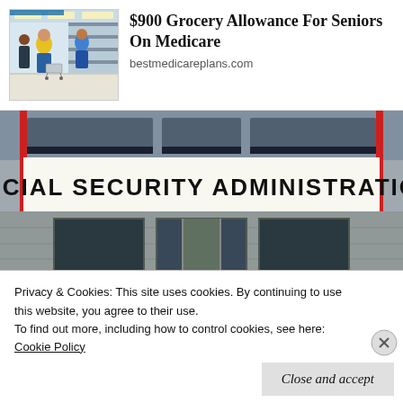[Figure (photo): Ad banner with grocery store photo showing shoppers with carts in a large retail store]
$900 Grocery Allowance For Seniors On Medicare
bestmedicareplans.com
[Figure (photo): Photo of Social Security Administration building exterior with large banner sign reading SOCIAL SECURITY ADMINISTRATION and red poles, glass doors below]
Privacy & Cookies: This site uses cookies. By continuing to use this website, you agree to their use.
To find out more, including how to control cookies, see here:
Cookie Policy
Close and accept